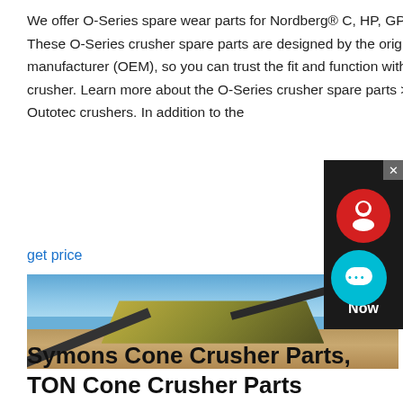We offer O-Series spare wear parts for Nordberg® C, HP, GP, and Symons™ crushers. These O-Series crusher spare parts are designed by the original equipment manufacturer (OEM), so you can trust the fit and function with your TON Outotec crusher. Learn more about the O-Series crusher spare parts >> Parts for non-TON Outotec crushers. In addition to the
get price
[Figure (photo): Outdoor photo of a Symons cone crusher / TON cone crusher installation at a mining or quarrying site, showing industrial machinery with conveyor belts on red/orange dirt ground with trees in the background under a blue sky.]
Symons Cone Crusher Parts, TON Cone Crusher Parts